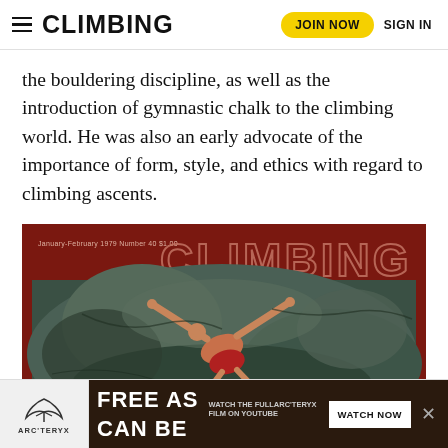CLIMBING | JOIN NOW | SIGN IN
the bouldering discipline, as well as the introduction of gymnastic chalk to the climbing world. He was also an early advocate of the importance of form, style, and ethics with regard to climbing ascents.
[Figure (photo): Cover of Climbing magazine, January-February 1979, Number 40, $1.00, showing a climber bouldering on a rock face, wearing red shorts, arms spread wide on the rock surface. The cover features the CLIMBING logo in large outlined letters on a dark red background.]
[Figure (other): Advertisement banner for Arc'teryx featuring 'FREE AS CAN BE' with subtext 'WATCH THE FULLARC'TERYX FILM ON YOUTUBE' and a 'WATCH NOW' button.]